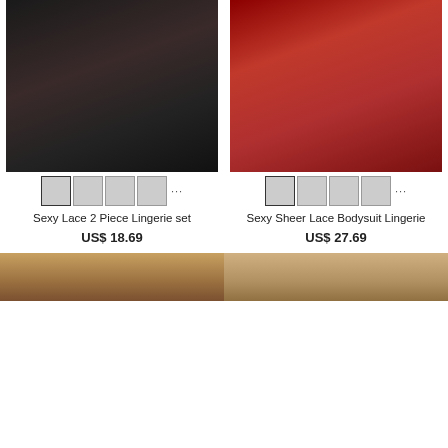[Figure (photo): Black lace 2-piece lingerie set worn by a blonde woman]
[Figure (photo): Red sheer lace bodysuit lingerie worn by a blonde woman]
Sexy Lace 2 Piece Lingerie set
US$ 18.69
Sexy Sheer Lace Bodysuit Lingerie
US$ 27.69
[Figure (photo): Bottom-left product image, partially visible]
[Figure (photo): Bottom-right product image, partially visible]